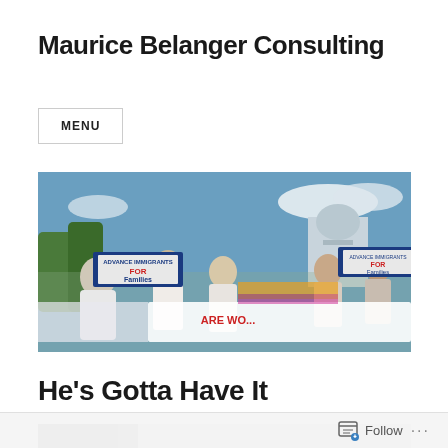Maurice Belanger Consulting
MENU
[Figure (photo): A crowd of people at an outdoor rally near the US Capitol building, holding signs that read 'FOR Families' and other immigration-related banners.]
He’s Gotta Have It
[Figure (photo): Partial view of another image, appears to be an outdoor scene with trees, shown at the bottom of the page cropped.]
Follow ...